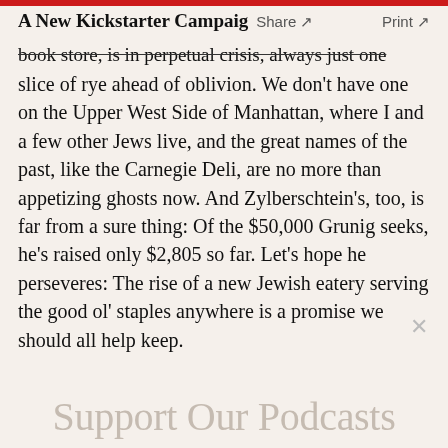A New Kickstarter Campaign
book store, is in perpetual crisis, always just one slice of rye ahead of oblivion. We don't have one on the Upper West Side of Manhattan, where I and a few other Jews live, and the great names of the past, like the Carnegie Deli, are no more than appetizing ghosts now. And Zylberschtein's, too, is far from a sure thing: Of the $50,000 Grunig seeks, he's raised only $2,805 so far. Let's hope he perseveres: The rise of a new Jewish eatery serving the good ol' staples anywhere is a promise we should all help keep.
Support Our Podcasts